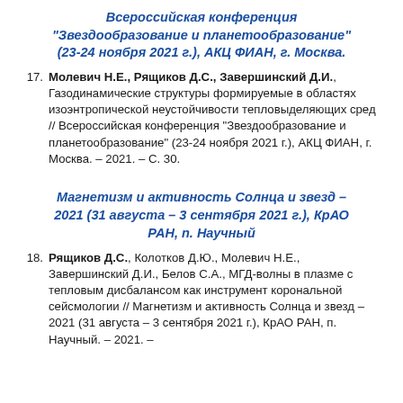Всероссийская конференция "Звездообразование и планетообразование" (23-24 ноября 2021 г.), АКЦ ФИАН, г. Москва.
17. Молевич Н.Е., Рящиков Д.С., Завершинский Д.И., Газодинамические структуры формируемые в областях изоэнтропической неустойчивости тепловыделяющих сред // Всероссийская конференция "Звездообразование и планетообразование" (23-24 ноября 2021 г.), АКЦ ФИАН, г. Москва. – 2021. – С. 30.
Магнетизм и активность Солнца и звезд – 2021 (31 августа – 3 сентября 2021 г.), КрАО РАН, п. Научный
18. Рящиков Д.С., Колотков Д.Ю., Молевич Н.Е., Завершинский Д.И., Белов С.А., МГД-волны в плазме с тепловым дисбалансом как инструмент корональной сейсмологии // Магнетизм и активность Солнца и звезд – 2021 (31 августа – 3 сентября 2021 г.), КрАО РАН, п. Научный. – 2021. –